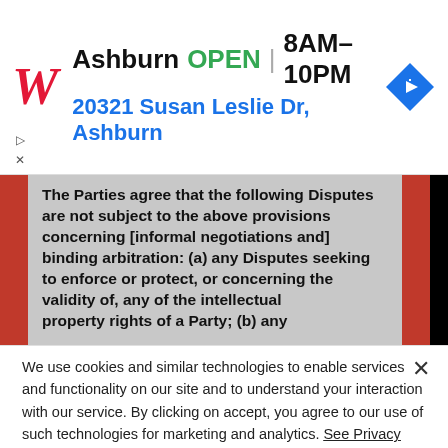[Figure (screenshot): Walgreens advertisement banner showing store location in Ashburn, open 8AM-10PM, address 20321 Susan Leslie Dr, Ashburn, with navigation icon]
[Figure (screenshot): Document screenshot showing legal text about Disputes not subject to provisions concerning informal negotiations and binding arbitration, with red vertical bars on sides]
We use cookies and similar technologies to enable services and functionality on our site and to understand your interaction with our service. By clicking on accept, you agree to our use of such technologies for marketing and analytics. See Privacy Policy
Decline All
Accept
Cookie Settings